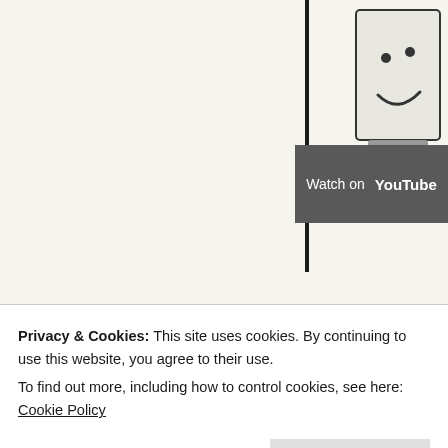[Figure (screenshot): YouTube video embed showing 'Watch on YouTube' button overlay on top of a video thumbnail. A partial illustration of a character with a smiley face is visible on the right side. A vertical black line and horizontal black line frame the video area.]
Chicago bop flag bearers, Lil' Trav and Lil' Ceno, utiliz synth for a sound that could be mistaken for J-Pop. L conjure up sweltering days filled with the relief only b Trav and Ceno could have come from the brightest s has a heart underneath it's rough, scarred exterior.
Tink – “Million”
[Figure (screenshot): Partial view of a second YouTube video thumbnail with dark teal/green background showing a partial figure.]
Privacy & Cookies: This site uses cookies. By continuing to use this website, you agree to their use.
To find out more, including how to control cookies, see here: Cookie Policy
Close and accept